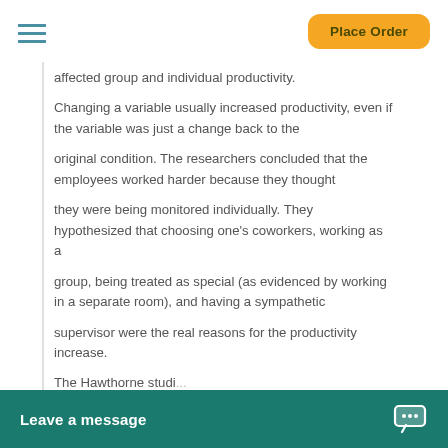Place Order
affected group and individual productivity.
Changing a variable usually increased productivity, even if the variable was just a change back to the
original condition. The researchers concluded that the employees worked harder because they thought
they were being monitored individually. They hypothesized that choosing one's coworkers, working as a
group, being treated as special (as evidenced by working in a separate room), and having a sympathetic
supervisor were the real reasons for the productivity increase.
The Hawthorne studi... performance is depe...